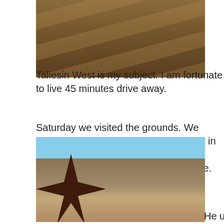[Figure (photo): Outdoor seating area with stone chairs along a red wall with desert plants, at Taliesin West]
Taliesin West is my subject. I am fortunate to live 45 minutes drive away.
Saturday we visited the grounds. We didn't get a tour; tours are booked well in advance. We did wander the grounds, and visit the theatre he built for his wife.
[Figure (photo): Exterior view of Taliesin West with desert landscape, dark star sculpture in foreground, mountains in background]
He utilized